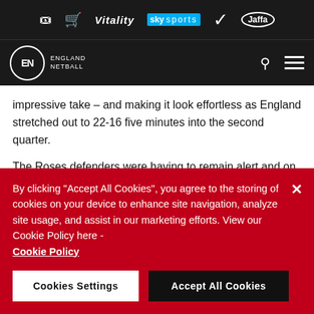[Figure (screenshot): Top sponsor bar with ticket icon, cart icon, Vitality logo, Sky Sports logo, Nike swoosh, and Jaffa logo on dark background]
[Figure (logo): England Netball navigation bar with EN circle logo, search icon, and hamburger menu on dark background]
impressive take – and making it look effortless as England stretched out to 22-16 five minutes into the second quarter.
The Roses defenders were having to remain alert and on their toes at all times with Malawi twisting and turning and playing the ball around the circle.
A Harten attempted bounce pass through to Corbin was
By clicking "Accept All Cookies", you agree to the storing of cookies on your device to enhance site navigation, analyze site usage, and assist in our marketing efforts. View our Cookie Policy here - Cookie Policy
Cookies Settings
Accept All Cookies